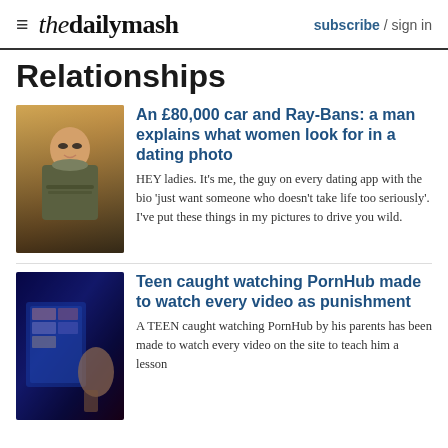≡ thedailymash  subscribe / sign in
Relationships
[Figure (photo): Man in sunglasses with arms crossed standing in front of a car with autumn foliage in background]
An £80,000 car and Ray-Bans: a man explains what women look for in a dating photo
HEY ladies. It's me, the guy on every dating app with the bio 'just want someone who doesn't take life too seriously'. I've put these things in my pictures to drive you wild.
[Figure (photo): Teen watching screen showing adult content website, blue glow in dark room]
Teen caught watching PornHub made to watch every video as punishment
A TEEN caught watching PornHub by his parents has been made to watch every video on the site to teach him a lesson